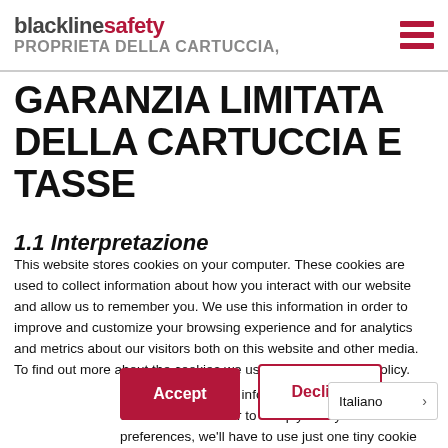blacklinesafety PROPRIETA DELLA CARTUCCIA,
GARANZIA LIMITATA DELLA CARTUCCIA E TASSE
1.1 Interpretazione
This website stores cookies on your computer. These cookies are used to collect information about how you interact with our website and allow us to remember you. We use this information in order to improve and customize your browsing experience and for analytics and metrics about our visitors both on this website and other media. To find out more about the cookies we use, see our Privacy Policy.
We won't track your information when you visit our site. But in order to comply with your preferences, we'll have to use just one tiny cookie so that you're not asked to make this choice again.